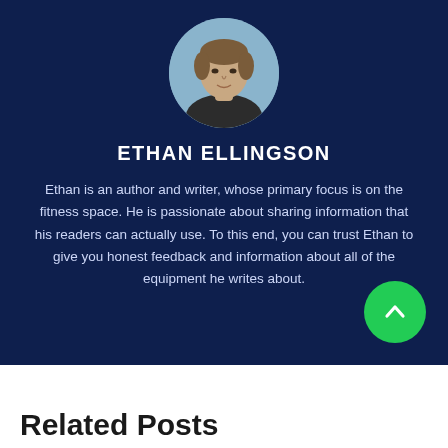[Figure (photo): Circular headshot photo of a young man with short brown hair, against an outdoor background]
ETHAN ELLINGSON
Ethan is an author and writer, whose primary focus is on the fitness space. He is passionate about sharing information that his readers can actually use. To this end, you can trust Ethan to give you honest feedback and information about all of the equipment he writes about.
Related Posts